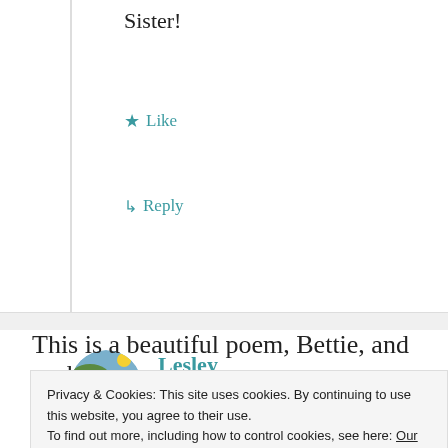Sister!
★ Like
↳ Reply
Lesley
September 23, 2019 at 5:18 pm
[Figure (photo): Round avatar photo showing a landscape with hills, city skyline, and sky]
This is a beautiful poem, Bettie, and such
Privacy & Cookies: This site uses cookies. By continuing to use this website, you agree to their use.
To find out more, including how to control cookies, see here: Our Cookie Policy
Close and accept
he wants to remove the pain and shame